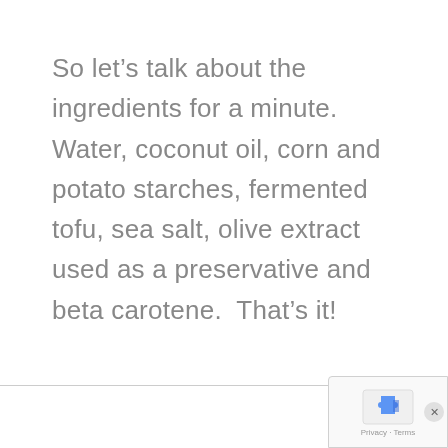So let’s talk about the ingredients for a minute.  Water, coconut oil, corn and potato starches, fermented tofu, sea salt, olive extract used as a preservative and beta carotene.  That’s it!